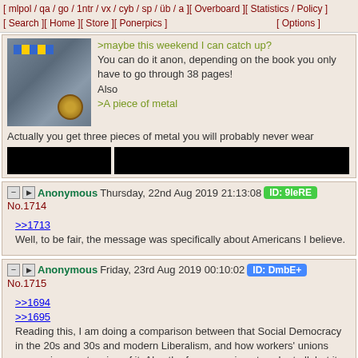[ mlpol / qa / go / 1ntr / vx / cyb / sp / üb / a ][ Overboard ][ Statistics / Policy ] [ Search ][ Home ][ Store ][ Ponerpics ] [ Options ]
[Figure (photo): Thumbnail image showing a medal/coin with ribbon on a surface]
>maybe this weekend I can catch up?
You can do it anon, depending on the book you only have to go through 38 pages!
Also
>A piece of metal
Actually you get three pieces of metal you will probably never wear
[redacted content]
Anonymous Thursday, 22nd Aug 2019 21:13:08 ID: 9leRE No.1714
>>1713
Well, to be fair, the message was specifically about Americans I believe.
Anonymous Friday, 23rd Aug 2019 00:10:02 ID: DmbE+ No.1715
>>1694
>>1695
Reading this, I am doing a comparison between that Social Democracy in the 20s and 30s and modern Liberalism, and how workers' unions are again an extension of it. Also the free press is not such at all, but it can be rightfully called again judenpresse. It is like history repeats itself.